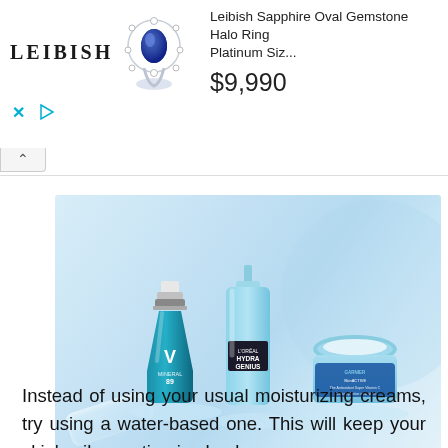[Figure (other): Leibish advertisement banner with logo, sapphire oval gemstone halo ring image, product name 'Leibish Sapphire Oval Gemstone Halo Ring Platinum Siz...' and price $9,990, with close and play controls]
[Figure (photo): Photo of three skincare products on clear acrylic stands against a light blue background: Vichy Mineral 89 serum, L'Oreal Hydra Genius serum bottle, and Garnier SkinActive Hyaluronic Acid moisturizer jar, with a dropper in the foreground. Source: Skincare.com]
Source: Skincare.com
Instead of using your usual moisturizing creams, try using a water-based one. This will keep your skin's oil secretion in check.